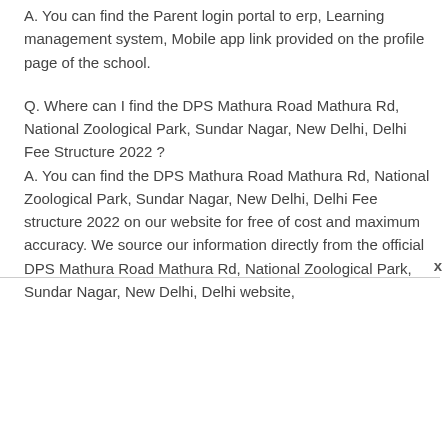A. You can find the Parent login portal to erp, Learning management system, Mobile app link provided on the profile page of the school.
Q. Where can I find the DPS Mathura Road Mathura Rd, National Zoological Park, Sundar Nagar, New Delhi, Delhi Fee Structure 2022 ?
A. You can find the DPS Mathura Road Mathura Rd, National Zoological Park, Sundar Nagar, New Delhi, Delhi Fee structure 2022 on our website for free of cost and maximum accuracy. We source our information directly from the official DPS Mathura Road Mathura Rd, National Zoological Park, Sundar Nagar, New Delhi, Delhi website,